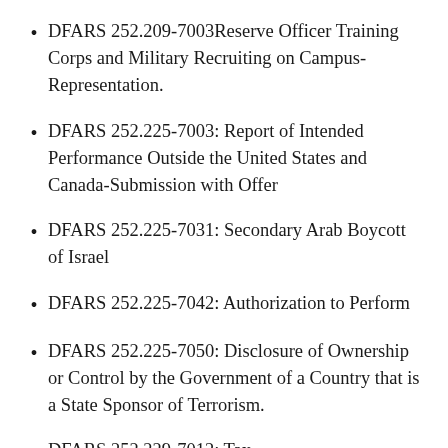DFARS 252.209-7003Reserve Officer Training Corps and Military Recruiting on Campus-Representation.
DFARS 252.225-7003: Report of Intended Performance Outside the United States and Canada-Submission with Offer
DFARS 252.225-7031: Secondary Arab Boycott of Israel
DFARS 252.225-7042: Authorization to Perform
DFARS 252.225-7050: Disclosure of Ownership or Control by the Government of a Country that is a State Sponsor of Terrorism.
DFARS 252.229-7012: Tax